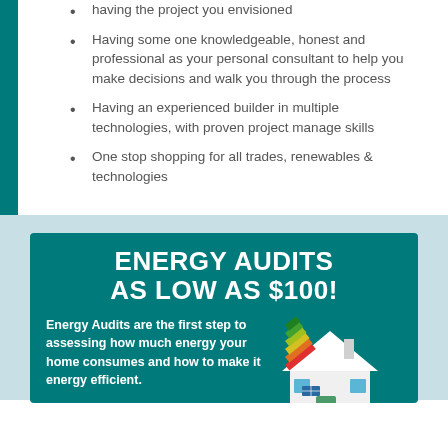having the project you envisioned
Having some one knowledgeable, honest and professional as your personal consultant to help you make decisions and walk you through the process
Having an experienced builder in multiple technologies, with proven project manage skills
One stop shopping for all trades, renewables & technologies
ENERGY AUDITS AS LOW AS $100!
Energy Audits are the first step to assessing how much energy your home consumes and how to make it energy efficient.
[Figure (illustration): A house illustration with coloured energy efficiency rating bars on the roof (green to red), representing energy audit graphic]